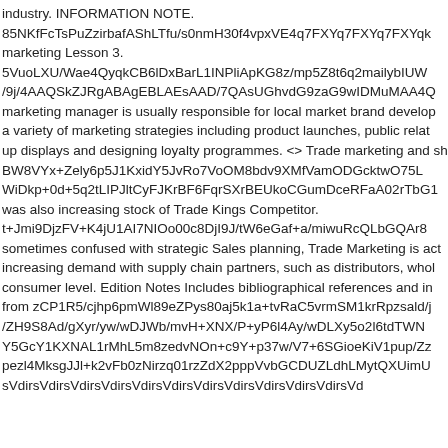industry. INFORMATION NOTE.
85NKfFcTsPuZzirbafAShLTfu/s0nmH30f4vpxVE4q7FXYq7FXYq7FXYqk
marketing Lesson 3.
5VuoLXU/Wae4QyqkCB6lDxBarL1INPliApKG8z/mp5Z8t6q2mailybIUW
/9j/4AAQSkZJRgABAgEBLAEsAAD/7QAsUGhvdG9zaG9wIDMuMAA4Q
marketing manager is usually responsible for local market brand develop
a variety of marketing strategies including product launches, public relat
up displays and designing loyalty programmes. <> Trade marketing and sh
BW8VYx+Zely6p5J1KxidY5JvRo7VoOM8bdv9XMfVamODGcktwO75L
WiDkp+0d+5q2tLIPJltCyFJKrBF6FqrSXrBEUkoCGumDceRFaA02rTbG1
was also increasing stock of Trade Kings Competitor.
t+Jmi9DjzFV+K4jU1AI7NIOo00c8DjI9J/tW6eGaf+a/miwuRcQLbGQAr8
sometimes confused with strategic Sales planning, Trade Marketing is act
increasing demand with supply chain partners, such as distributors, whol
consumer level. Edition Notes Includes bibliographical references and in
from zCP1R5/cjhp6pmWl89eZPys80aj5k1a+tvRaC5vrmSM1krRpzsald/j
/ZH9S8Ad/gXyr/yw/wDJWb/mvH+XNX/P+yP6l4Ay/wDLXy5o2l6tdTWN
Y5GcY1KXNAL1rMhL5m8zedvNOn+c9Y+p37w/V7+6SGioeKiV1pup/Zz
pezl4MksgJJl+k2vFb0zNirzq01rzZdX2pppVvbGCDUZLdhLMytQXUimU
sVdirsVdirsVdirsVdirsVdirsVdirsVdirsVdirsVdirsVdirsVdirsVd